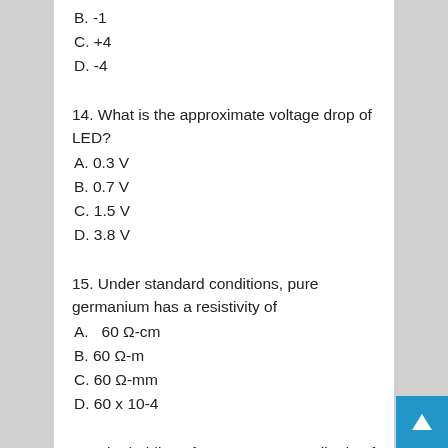B. -1
C. +4
D. -4
14. What is the approximate voltage drop of LED?
A. 0.3 V
B. 0.7 V
C. 1.5 V
D. 3.8 V
15. Under standard conditions, pure germanium has a resistivity of
A.   60 Ω-cm
B. 60 Ω-m
C. 60 Ω-mm
D. 60 x 10-4
16. The holding of one extreme amplitude of the input waveform to a certain amount of